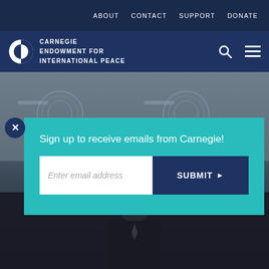ABOUT   CONTACT   SUPPORT   DONATE
[Figure (logo): Carnegie Endowment for International Peace logo - circular half black half white icon with organization name in white text]
[Figure (photo): Background photo showing a press conference or official meeting with Arabic text banners and official seals visible, person in suit with microphone]
Sign up to receive emails from Carnegie!
Enter email address
SUBMIT ▶